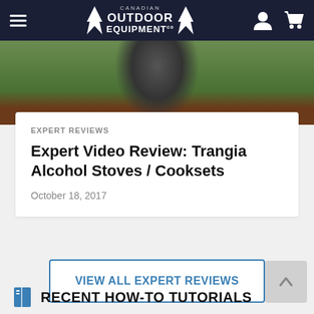Canadian Outdoor Equipment
[Figure (photo): Partial photo of a person in dark clothes outdoors near a wooden structure with green grass background]
EXPERT REVIEWS
Expert Video Review: Trangia Alcohol Stoves / Cooksets
October 18, 2017
VIEW ALL EXPERT REVIEWS
RECENT HOW-TO TUTORIALS